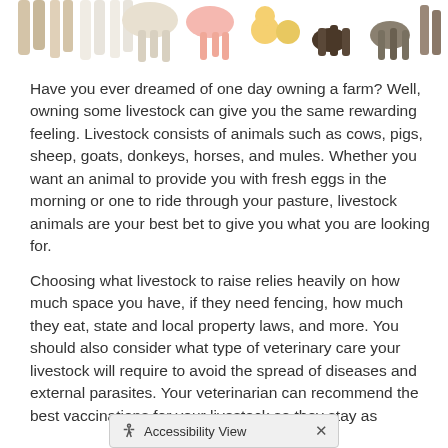[Figure (photo): Row of livestock animals (horses, cows, goats, pigs, chicks, dogs) shown from the legs/body area, cropped at top of page.]
Have you ever dreamed of one day owning a farm? Well, owning some livestock can give you the same rewarding feeling. Livestock consists of animals such as cows, pigs, sheep, goats, donkeys, horses, and mules. Whether you want an animal to provide you with fresh eggs in the morning or one to ride through your pasture, livestock animals are your best bet to give you what you are looking for.
Choosing what livestock to raise relies heavily on how much space you have, if they need fencing, how much they eat, state and local property laws, and more. You should also consider what type of veterinary care your livestock will require to avoid the spread of diseases and external parasites. Your veterinarian can recommend the best vaccinations for your livestock so they stay as